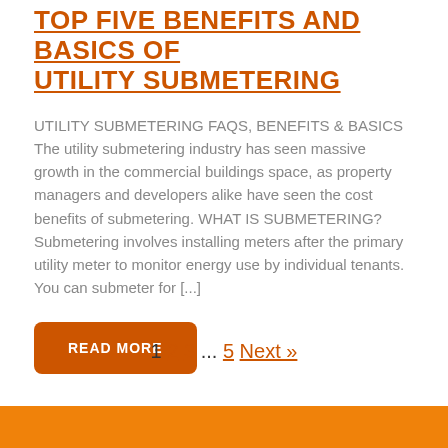TOP FIVE BENEFITS AND BASICS OF UTILITY SUBMETERING
UTILITY SUBMETERING FAQS, BENEFITS & BASICS The utility submetering industry has seen massive growth in the commercial buildings space, as property managers and developers alike have seen the cost benefits of submetering. WHAT IS SUBMETERING? Submetering involves installing meters after the primary utility meter to monitor energy use by individual tenants. You can submeter for [...]
READ MORE
1 2 3 ... 5 Next »